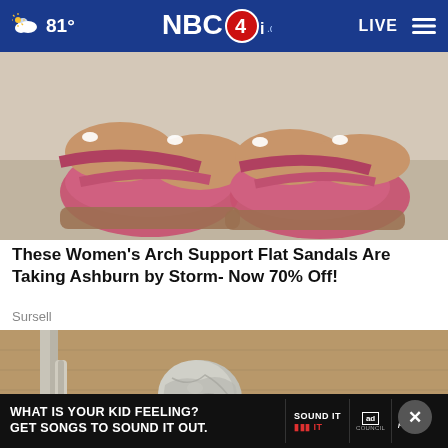81° NBC4i.com LIVE
[Figure (photo): Close-up photo of feet wearing pink/red arch support flat sandals on a stone/tile floor]
These Women's Arch Support Flat Sandals Are Taking Ashburn by Storm- Now 70% Off!
Sursell
[Figure (photo): Photo of a door handle or knob with a crumpled piece of aluminum foil wrapped around it]
[Figure (screenshot): Advertisement banner: WHAT IS YOUR KID FEELING? GET SONGS TO SOUND IT OUT. SOUND IT OUT. Ad Council. pivotal.]
[Figure (other): Close button (X) overlay on the door handle photo]